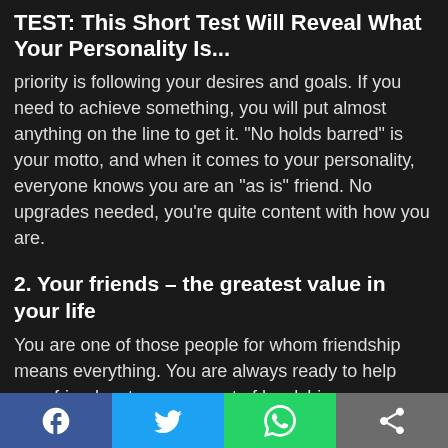TEST: This Short Test Will Reveal What Your Personality Is...
priority is following your desires and goals. If you need to achieve something, you will put almost anything on the line to get it. “No holds barred” is your motto, and when it comes to your personality, everyone knows you are an “as is” friend. No upgrades needed, you’re quite content with how you are.
2. Your friends – the greatest value in your life
You are one of those people for whom friendship means everything. You are always ready to help your friends, at any moment of hardship you are there for them – it’s like a lifebuoy cast off in time. You do not blame them for their inability to deal with the
Facebook | Twitter | WhatsApp | Share